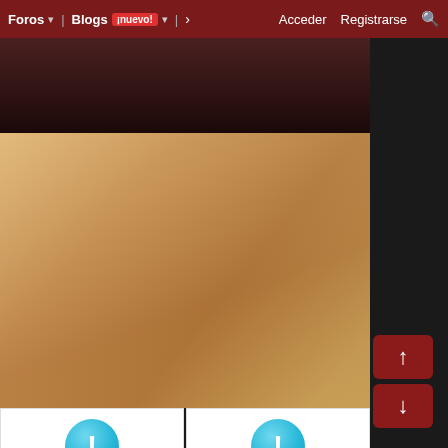Foros  ▾   Blogs ¡nuevo! ▾   ›   Acceder   Registrarse   🔍
[Figure (screenshot): Top portion of a dark-themed webpage showing the upper navigation image area with silhouettes against a dark reddish-brown background.]
[Figure (illustration): 3D rendered illustration showing animated characters on a patterned orange/brown floor background.]
[Figure (screenshot): Imagetwist.com error box — cyan circle with exclamation mark, text: Imagetwist.com Error: This image is deleted or moved from our servers.]
[Figure (screenshot): Imagetwist.com error box — cyan circle with exclamation mark, text: Imagetwist.com Error: This image is deleted or moved from our servers.]